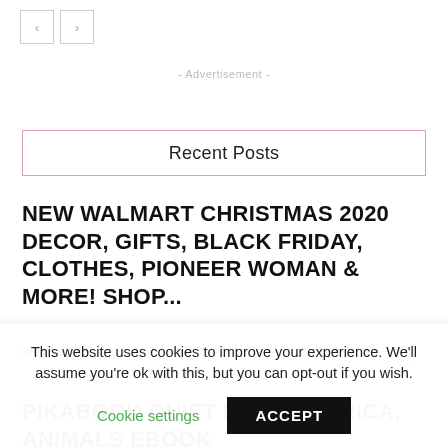< >
- Advertisement -
Recent Posts
NEW WALMART CHRISTMAS 2020 DECOR, GIFTS, BLACK FRIDAY, CLOTHES, PIONEER WOMAN & MORE! SHOP...
xlaurax5x3 – November 19, 2020  0
PIKABOOK QUIET EBOOK AFRICA, ANIMALS EBOOK
This website uses cookies to improve your experience. We'll assume you're ok with this, but you can opt-out if you wish.
Cookie settings   ACCEPT